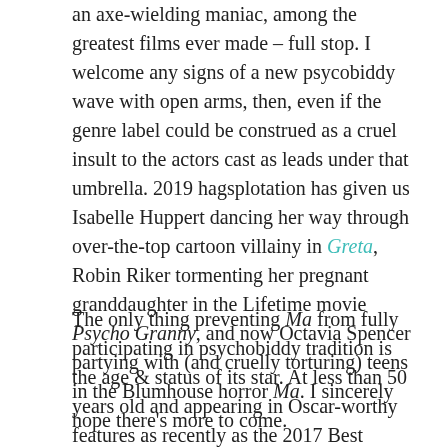an axe-wielding maniac, among the greatest films ever made – full stop. I welcome any signs of a new psycobiddy wave with open arms, then, even if the genre label could be construed as a cruel insult to the actors cast as leads under that umbrella. 2019 hagsplotation has given us Isabelle Huppert dancing her way through over-the-top cartoon villainy in Greta, Robin Riker tormenting her pregnant granddaughter in the Lifetime movie Psycho Granny, and now Octavia Spencer partying with (and cruelly torturing) teens in the Blumhouse horror Ma. I sincerely hope there's more to come.
The only thing preventing Ma from fully participating in psychobiddy tradition is the age & status of its star. At less than 50 years old and appearing in Oscar-worthy features as recently as the 2017 Best Picture-winner The Shape of Water, Octavia Spencer should likely be